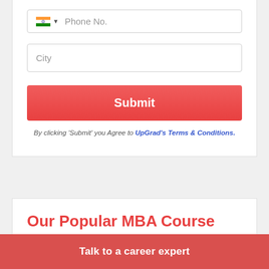[Figure (screenshot): Phone number input field with Indian flag icon and dropdown arrow, placeholder text 'Phone No.']
[Figure (screenshot): City input field with placeholder text 'City']
[Figure (screenshot): Red Submit button]
By clicking 'Submit' you Agree to UpGrad's Terms & Conditions.
Our Popular MBA Course
Talk to a career expert